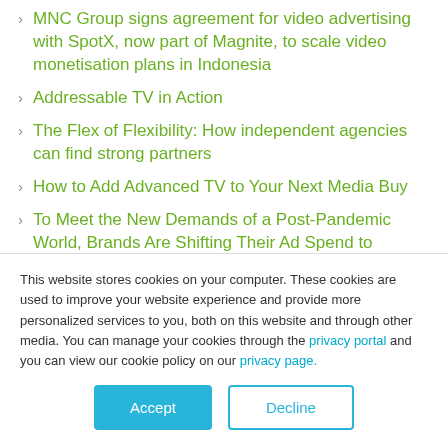MNC Group signs agreement for video advertising with SpotX, now part of Magnite, to scale video monetisation plans in Indonesia
Addressable TV in Action
The Flex of Flexibility: How independent agencies can find strong partners
How to Add Advanced TV to Your Next Media Buy
To Meet the New Demands of a Post-Pandemic World, Brands Are Shifting Their Ad Spend to
This website stores cookies on your computer. These cookies are used to improve your website experience and provide more personalized services to you, both on this website and through other media. You can manage your cookies through the privacy portal and you can view our cookie policy on our privacy page.